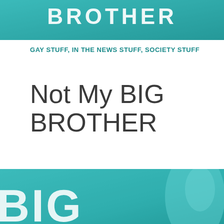[Figure (photo): Top portion of a teal/cyan-toned image showing the word BROTHER in large letters with a blurry torso/figure in the background]
GAY STUFF, IN THE NEWS STUFF, SOCIETY STUFF
Not My BIG BROTHER
July 11, 2013 by Colin James Morrison
[Figure (photo): Bottom portion of same teal/cyan-toned image showing the letters BIG partially visible with a blurry figure/torso on the right side]